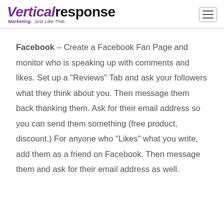VerticalResponse — Marketing. Just Like That.
Facebook – Create a Facebook Fan Page and monitor who is speaking up with comments and likes. Set up a "Reviews" Tab and ask your followers what they think about you. Then message them back thanking them. Ask for their email address so you can send them something (free product, discount.) For anyone who "Likes" what you write, add them as a friend on Facebook. Then message them and ask for their email address as well.